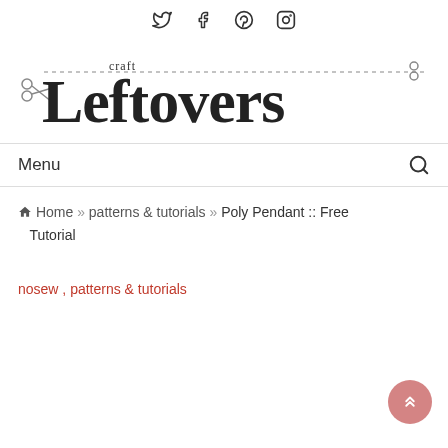Twitter Facebook Pinterest Instagram (social icons)
[Figure (logo): Craft Leftovers logo with scissors and dashed line, large decorative text]
Menu (navigation bar with search icon)
Home » patterns & tutorials » Poly Pendant :: Free Tutorial
nosew , patterns & tutorials